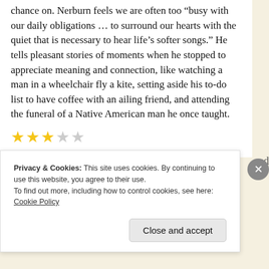chance on. Nerburn feels we are often too “busy with our daily obligations … to surround our hearts with the quiet that is necessary to hear life’s softer songs.” He tells pleasant stories of moments when he stopped to appreciate meaning and connection, like watching a man in a wheelchair fly a kite, setting aside his to-do list to have coffee with an ailing friend, and attending the funeral of a Native American man he once taught.
[Figure (other): 3 filled gold stars and 2 empty/grey stars indicating a 3 out of 5 star rating]
ed
Privacy & Cookies: This site uses cookies. By continuing to use this website, you agree to their use.
To find out more, including how to control cookies, see here: Cookie Policy
Close and accept